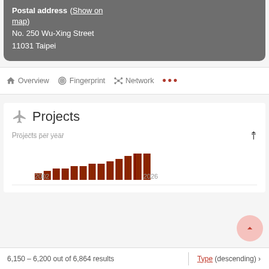Postal address (Show on map)
No. 250 Wu-Xing Street
11031 Taipei
Overview   Fingerprint   Network   ...
Projects
[Figure (bar-chart): Projects per year]
6,150 – 6,200 out of 6,864 results
Type (descending) ›